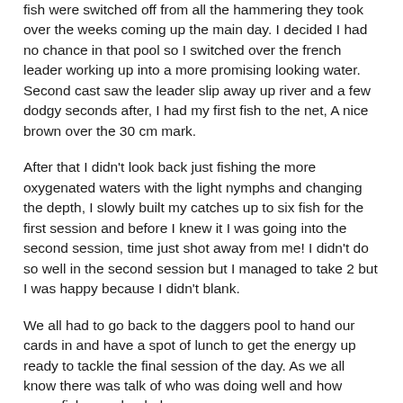fish were switched off from all the hammering they took over the weeks coming up the main day. I decided I had no chance in that pool so I switched over the french leader working up into a more promising looking water. Second cast saw the leader slip away up river and a few dodgy seconds after, I had my first fish to the net, A nice brown over the 30 cm mark.
After that I didn't look back just fishing the more oxygenated waters with the light nymphs and changing the depth, I slowly built my catches up to six fish for the first session and before I knew it I was going into the second session, time just shot away from me!  I didn't do so well in the second session but I managed to take 2 but I was happy because I didn't blank.
We all had to go back to the daggers pool to hand our cards in and have a spot of lunch to get the energy up ready to tackle the final session of the day. As we all know there was talk of who was doing well and how many fish were landed